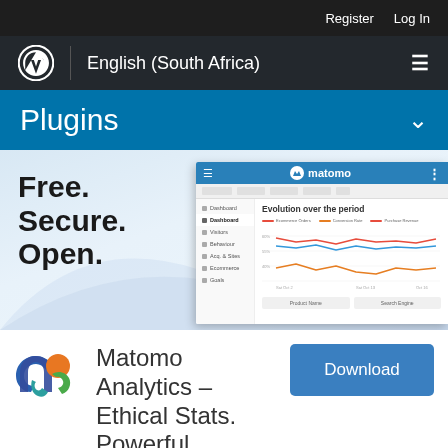Register  Log In
English (South Africa)
Plugins
[Figure (screenshot): Screenshot of Matomo Analytics dashboard showing 'Evolution over the period' line chart with three colored lines (red, blue, orange) and sidebar navigation]
Free.
Secure.
Open.
[Figure (logo): Matomo Analytics logo - stylized M shape in blue, teal, orange, and green]
Matomo Analytics – Ethical Stats. Powerful
Download